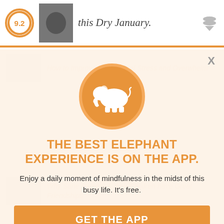9.2 | this Dry January.
[Figure (screenshot): App modal overlay with elephant logo circle, headline, subtitle, and two CTA buttons on a cream/tan background]
THE BEST ELEPHANT EXPERIENCE IS ON THE APP.
Enjoy a daily moment of mindfulness in the midst of this busy life. It's free.
GET THE APP
OPEN IN APP